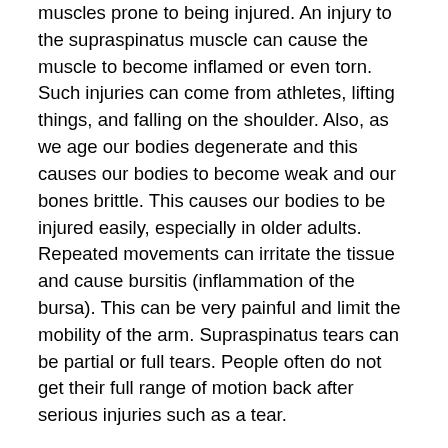muscles prone to being injured. An injury to the supraspinatus muscle can cause the muscle to become inflamed or even torn. Such injuries can come from athletes, lifting things, and falling on the shoulder. Also, as we age our bodies degenerate and this causes our bodies to become weak and our bones brittle. This causes our bodies to be injured easily, especially in older adults. Repeated movements can irritate the tissue and cause bursitis (inflammation of the bursa). This can be very painful and limit the mobility of the arm. Supraspinatus tears can be partial or full tears. People often do not get their full range of motion back after serious injuries such as a tear.
The infraspinatus muscle is a thick muscle with a triangular shape. The infraspinatus muscle connects in the middle of the posterosuperior and anterior parts of the rotator cuff. The main function of this muscle is to rotate the humerus externally and stabilize the joint.